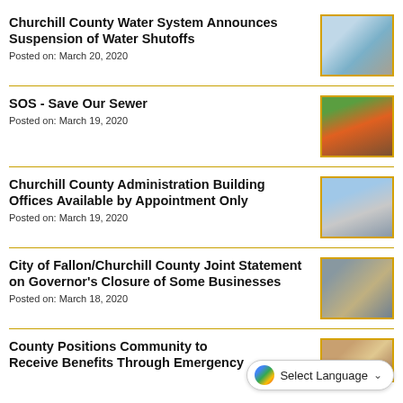Churchill County Water System Announces Suspension of Water Shutoffs
Posted on: March 20, 2020
[Figure (photo): Water infrastructure or fountain equipment photo]
SOS - Save Our Sewer
Posted on: March 19, 2020
[Figure (photo): Sewer construction site with orange barrier tape]
Churchill County Administration Building Offices Available by Appointment Only
Posted on: March 19, 2020
[Figure (photo): Churchill County Administration Building exterior with flag]
City of Fallon/Churchill County Joint Statement on Governor's Closure of Some Businesses
Posted on: March 18, 2020
[Figure (photo): Community landmark or decoration photo]
County Positions Community to Receive Benefits Through Emergency